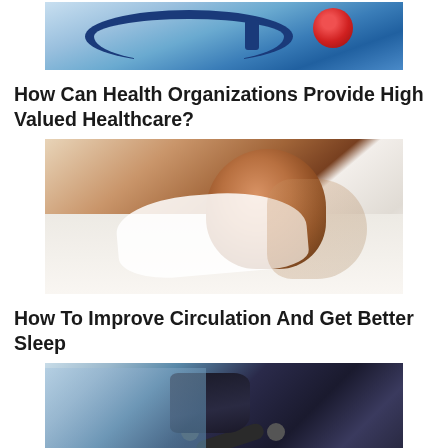[Figure (photo): Medical stethoscope and red heart on light blue background, viewed from above]
How Can Health Organizations Provide High Valued Healthcare?
[Figure (photo): Smiling woman lying in bed with white pillows, arms raised, looking happy and well-rested]
How To Improve Circulation And Get Better Sleep
[Figure (photo): Person exercising with dumbbells in a gym setting]